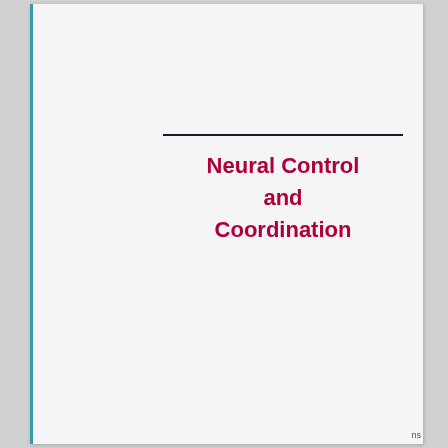Neural Control and Coordination